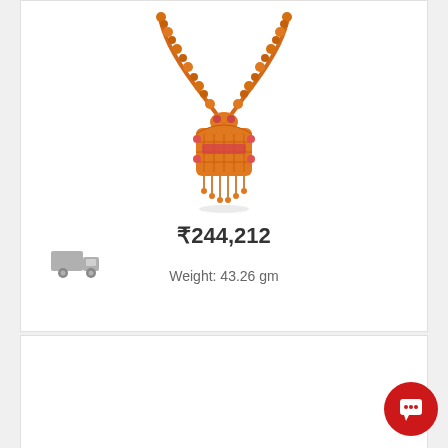[Figure (photo): Gold necklace with orange/amber beaded chain and ornate pendant with red gem accents and dangling drops]
₹244,212
Weight: 43.26 gm
[Figure (illustration): Grey delivery truck icon]
[Figure (illustration): Red circular chat/support button with speech bubble icon]